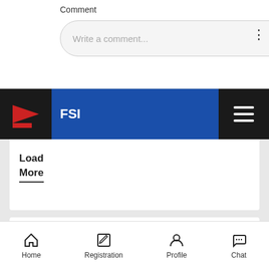Comment
Write a comment...
Add
FSI
Load
More
RT News 24 - Forever Miss India 2021 / Forever Mrs India 2021 Grand Finale in December
Post Date - 27-11-2021
RT News 24 - Forever Miss India 2021 / Forever Mrs India 2021 Grand Finale in December
rtNews24
Home
Registration
Profile
Chat